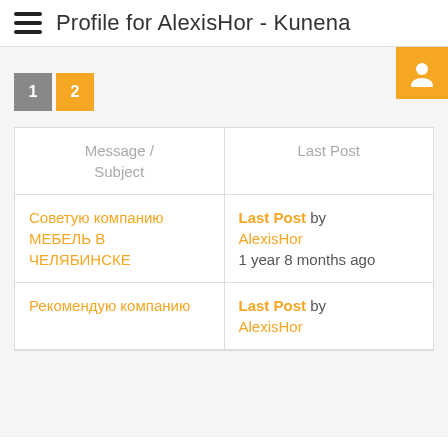Profile for AlexisHor - Kunena
[Figure (screenshot): Orange avatar/user icon button in top-right corner]
1 2
| Message / Subject | Last Post |
| --- | --- |
| Советую компанию МЕБЕЛЬ В ЧЕЛЯБИНСКЕ | Last Post by AlexisHor
1 year 8 months ago |
| Рекомендую компанию | Last Post by AlexisHor |